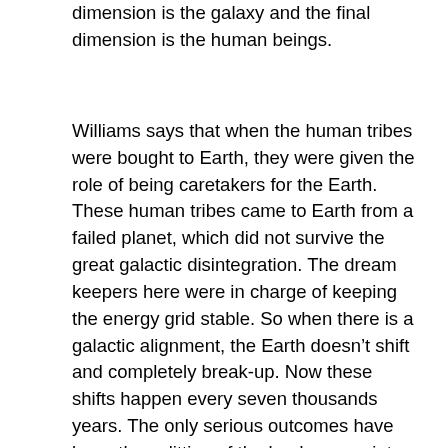dimension is the galaxy and the final dimension is the human beings.
Williams says that when the human tribes were bought to Earth, they were given the role of being caretakers for the Earth. These human tribes came to Earth from a failed planet, which did not survive the great galactic disintegration. The dream keepers here were in charge of keeping the energy grid stable. So when there is a galactic alignment, the Earth doesn't shift and completely break-up. Now these shifts happen every seven thousands years. The only serious outcomes have been the splitting of the landmasses into the seven continents. The minerals of the Earth, such as gold, silver, copper and uranium have kept the Earth together, but because of extensive mining of these minerals, the Earth is most likely on a course of doom. This grid is called the rainbow circle, “the dragon.” It cannot fail because if it